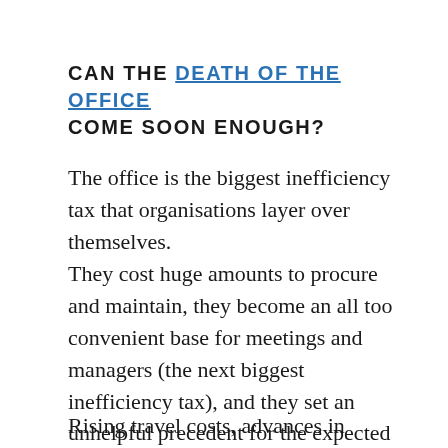CAN THE DEATH OF THE OFFICE COME SOON ENOUGH?
The office is the biggest inefficiency tax that organisations layer over themselves.
They cost huge amounts to procure and maintain, they become an all too convenient base for meetings and managers (the next biggest inefficiency tax), and they set an unhelpful precedent for the expected hours that people are meant to work.
Rising travel costs, advances in technology and the...